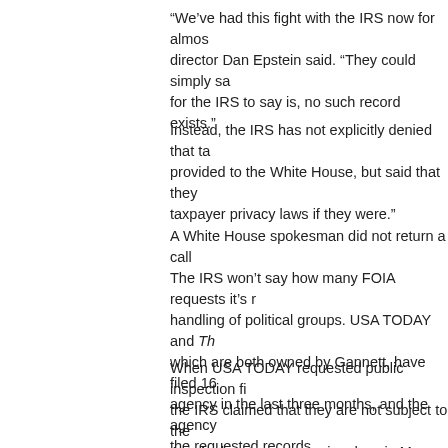“We’ve had this fight with the IRS now for almos… director Dan Epstein said. “They could simply sa… for the IRS to say is, no such record exists.”
Instead, the IRS has not explicitly denied that ta… provided to the White House, but said that they… taxpayer privacy laws if they were.”
A White House spokesman did not return a call…
The IRS won’t say how many FOIA requests it’s r… handling of political groups. USA TODAY and Th… which are both owned by Gannett, have filed 16… agency in the last three months, and the agency… the requested records.
When USA TODAY requested public inspection fi… the IRS claimed that they are not subject to the… Act. And on two successive days in May, USA TO… IRS’ Freedom of Information Reading Room only… public during its posted hours.